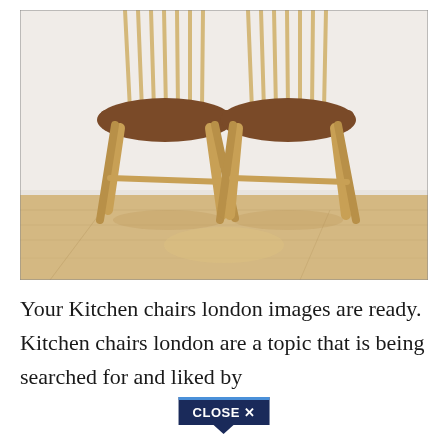[Figure (photo): Two Ercol-style Windsor kitchen chairs with light wood spindle backs and darker walnut-stained seats, photographed against a white draped background on a light wood floor.]
Your Kitchen chairs london images are ready. Kitchen chairs london are a topic that is being searched for and liked by